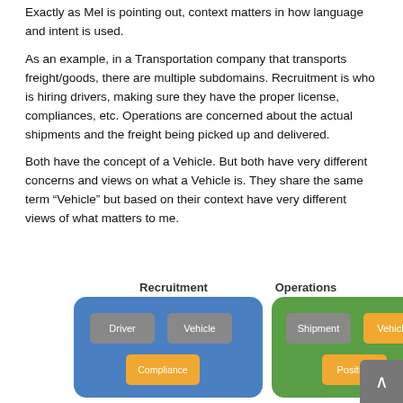Exactly as Mel is pointing out, context matters in how language and intent is used.
As an example, in a Transportation company that transports freight/goods, there are multiple subdomains. Recruitment is who is hiring drivers, making sure they have the proper license, compliances, etc. Operations are concerned about the actual shipments and the freight being picked up and delivered.
Both have the concept of a Vehicle. But both have very different concerns and views on what a Vehicle is. They share the same term “Vehicle” but based on their context have very different views of what matters to me.
[Figure (infographic): Two bounded context diagrams side by side. Left box (blue, rounded) labeled 'Recruitment' contains Driver (gray), Vehicle (gray), Compliance (orange) boxes. Right box (green, rounded) labeled 'Operations' contains Shipment (gray), Vehicle (orange), Position (orange) boxes.]